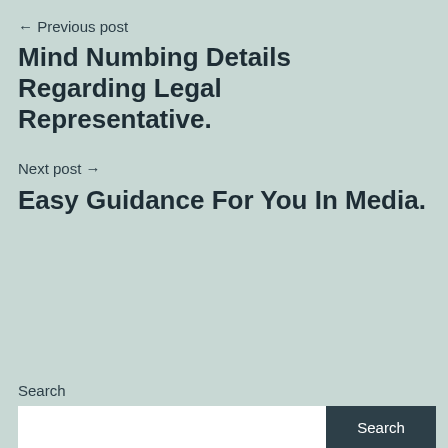← Previous post
Mind Numbing Details Regarding Legal Representative.
Next post →
Easy Guidance For You In Media.
Search
Search